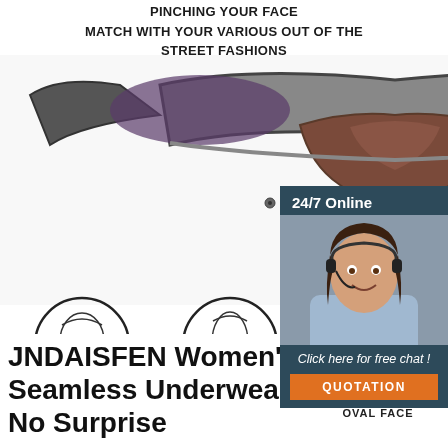PINCHING YOUR FACE
MATCH WITH YOUR VARIOUS OUT OF THE STREET FASHIONS
[Figure (photo): Close-up underside view of sunglasses frame showing nose bridge and hinges against white background]
[Figure (infographic): Three circular face type icons showing round face, long face, and oval face with sunglasses, each with a red badge. Labels: ROUND FACE, LONG FACE, OVAL FACE]
[Figure (photo): Customer service representative woman wearing headset, with 24/7 Online text, Click here for free chat, and QUOTATION button overlay]
JNDAISFEN Women's Seamless Underwear No Surprise
[Figure (logo): TOP button logo with orange triangle dots and orange text TOP]